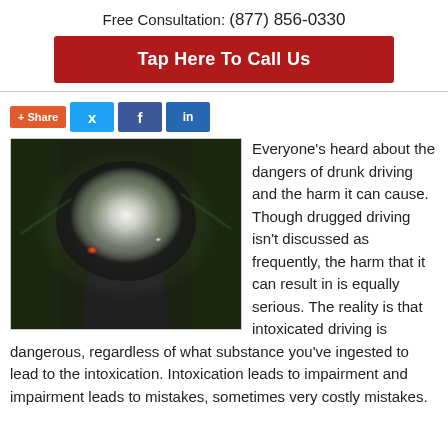Free Consultation: (877) 856-0330
Tap Here To Call Us
[Figure (other): Social share buttons: +Share, Twitter, Facebook, LinkedIn]
[Figure (photo): Blurry photo of a dark road with bright headlights and fire, suggesting a dangerous driving situation at night]
Everyone's heard about the dangers of drunk driving and the harm it can cause. Though drugged driving isn't discussed as frequently, the harm that it can result in is equally serious. The reality is that intoxicated driving is dangerous, regardless of what substance you've ingested to lead to the intoxication. Intoxication leads to impairment and impairment leads to mistakes, sometimes very costly mistakes.